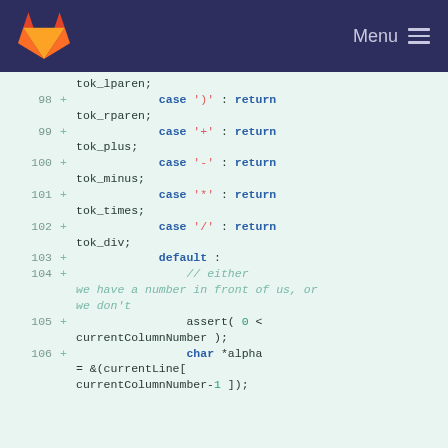GitLab Menu
tok_lparen;
98  +                  case ')' : return tok_rparen;
99  +                  case '+' : return tok_plus;
100 +                  case '-' : return tok_minus;
101 +                  case '*' : return tok_times;
102 +                  case '/' : return tok_div;
103 +                  default :
104 +                      // either we have a number in front of us, or we don't
105 +                      assert( 0 < currentColumnNumber );
106 +                      char *alpha = &(currentLine[ currentColumnNumber-1 ]);